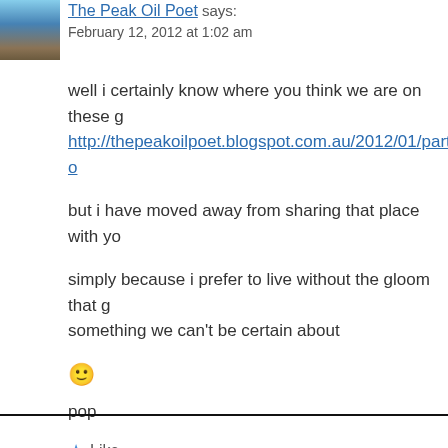[Figure (photo): Small avatar thumbnail showing an aerial/space view with blue sky and earth surface]
The Peak Oil Poet says:
February 12, 2012 at 1:02 am
well i certainly know where you think we are on these 
http://thepeakoilpoet.blogspot.com.au/2012/01/party-o...
but i have moved away from sharing that place with yo...
simply because i prefer to live without the gloom that g... something we can't be certain about
🙂
pop
★ Like